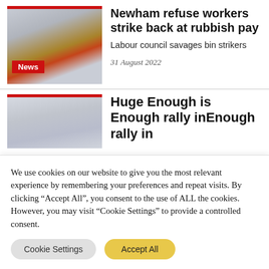[Figure (photo): Thumbnail photo of a bin lorry/refuse truck scene with workers, red bar at top]
Newham refuse workers strike back at rubbish pay
Labour council savages bin strikers
31 August 2022
[Figure (photo): Thumbnail photo of a crowd/rally scene, partially visible, with red bar at top]
Huge Enough is Enough rally in
We use cookies on our website to give you the most relevant experience by remembering your preferences and repeat visits. By clicking “Accept All”, you consent to the use of ALL the cookies. However, you may visit "Cookie Settings" to provide a controlled consent.
Cookie Settings
Accept All